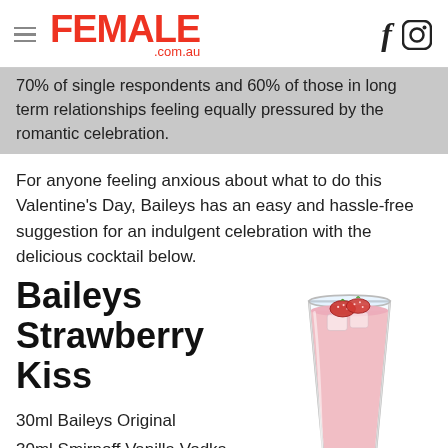FEMALE .com.au
70% of single respondents and 60% of those in long term relationships feeling equally pressured by the romantic celebration.
For anyone feeling anxious about what to do this Valentine's Day, Baileys has an easy and hassle-free suggestion for an indulgent celebration with the delicious cocktail below.
Baileys Strawberry Kiss
30ml Baileys Original
30ml Smirnoff Vanilla Vodka
60ml apple juice
5ml Grenadine
Two strawberries
[Figure (photo): A tall glass filled with a pink creamy cocktail, topped with strawberry slices]